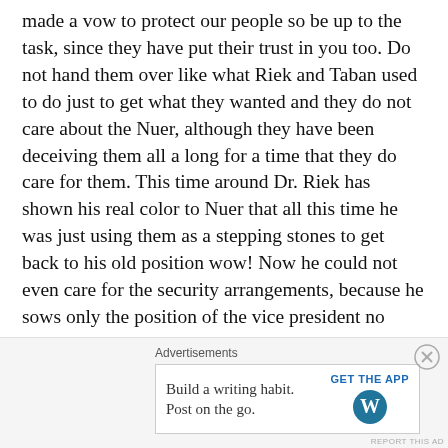made a vow to protect our people so be up to the task, since they have put their trust in you too. Do not hand them over like what Riek and Taban used to do just to get what they wanted and they do not care about the Nuer, although they have been deceiving them all a long for a time that they do care for them. This time around Dr. Riek has shown his real color to Nuer that all this time he was just using them as a stepping stones to get back to his old position wow! Now he could not even care for the security arrangements, because he sows only the position of the vice president no more any less. Bravo! Bravo Dr. Machar! So you made it back again by blind folding and deceiving your poor and innocent Nuer people what a Guinness!
Advertisements
Build a writing habit. Post on the go. GET THE APP